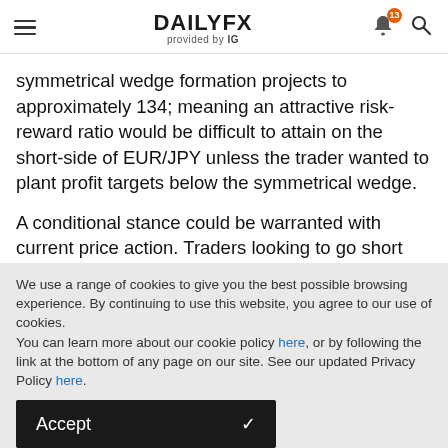DAILYFX provided by IG
symmetrical wedge formation projects to approximately 134; meaning an attractive risk-reward ratio would be difficult to attain on the short-side of EUR/JPY unless the trader wanted to plant profit targets below the symmetrical wedge.
A conditional stance could be warranted with current price action. Traders looking to go short could wait for the bottom-side of the wedge to break before looking to trigger the position and this could open the door for profit targets
We use a range of cookies to give you the best possible browsing experience. By continuing to use this website, you agree to our use of cookies.
You can learn more about our cookie policy here, or by following the link at the bottom of any page on our site. See our updated Privacy Policy here.
Accept